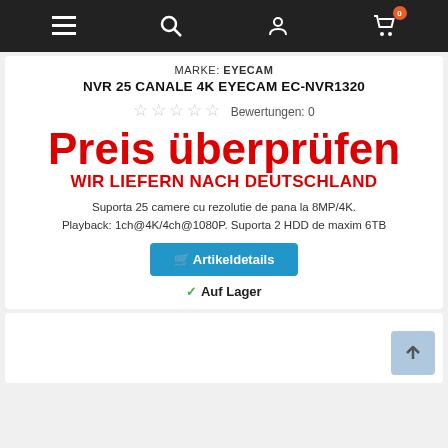Navigation bar with menu, search, account, and cart (0 items) icons
MARKE: EYECAM
NVR 25 CANALE 4K EYECAM EC-NVR1320
☆☆☆☆☆ Bewertungen: 0
Preis überprüfen
WIR LIEFERN NACH DEUTSCHLAND
Suporta 25 camere cu rezolutie de pana la 8MP/4K. Playback: 1ch@4K/4ch@1080P. Suporta 2 HDD de maxim 6TB
🛒 Artikeldetails
✓ Auf Lager